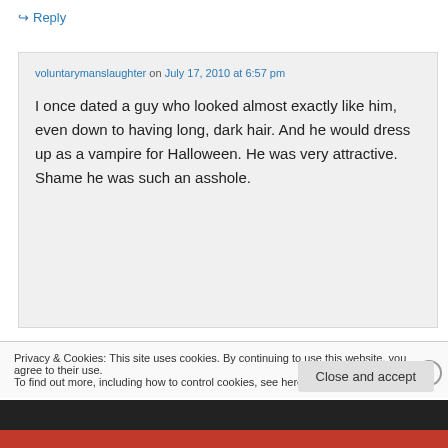↪ Reply
voluntarymanslaughter on July 17, 2010 at 6:57 pm
I once dated a guy who looked almost exactly like him, even down to having long, dark hair. And he would dress up as a vampire for Halloween. He was very attractive. Shame he was such an asshole.
Privacy & Cookies: This site uses cookies. By continuing to use this website, you agree to their use.
To find out more, including how to control cookies, see here: Cookie Policy
Close and accept